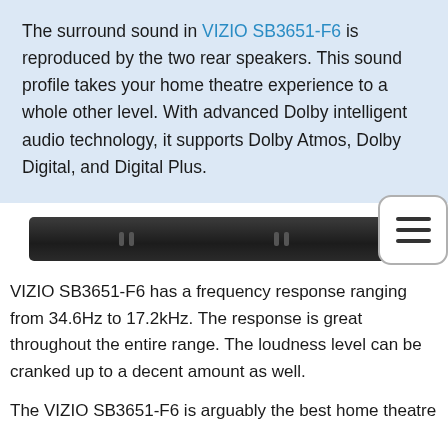The surround sound in VIZIO SB3651-F6 is reproduced by the two rear speakers. This sound profile takes your home theatre experience to a whole other level. With advanced Dolby intelligent audio technology, it supports Dolby Atmos, Dolby Digital, and Digital Plus.
[Figure (photo): Front view of VIZIO SB3651-F6 soundbar, a slim dark/black horizontal speaker bar]
VIZIO SB3651-F6 has a frequency response ranging from 34.6Hz to 17.2kHz. The response is great throughout the entire range. The loudness level can be cranked up to a decent amount as well.
The VIZIO SB3651-F6 is arguably the best home theatre...